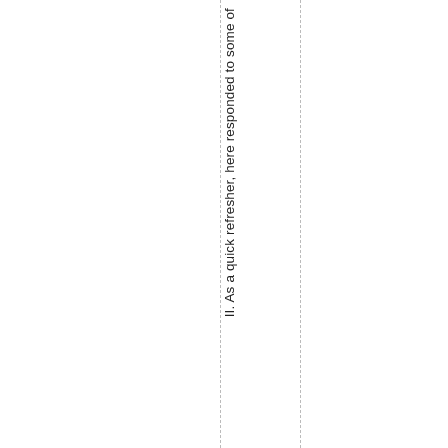II. As a quick refresher, here responded to some of